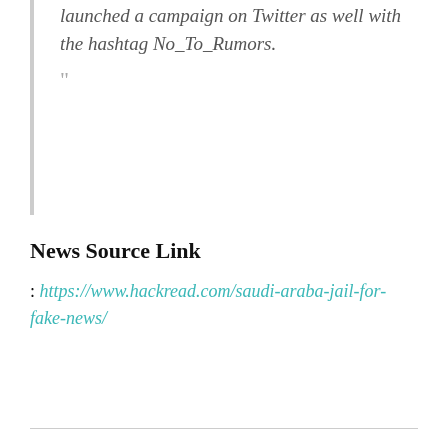launched a campaign on Twitter as well with the hashtag No_To_Rumors.

”
News Source Link
: https://www.hackread.com/saudi-araba-jail-for-fake-news/
Tags : Crime, Cyber Crime, Facebook, News, Others, Social Networks,
This Post Was Published On My Steemit Blog. Please, navigate to steemit and cast a free upvote to help me if you like the post. First Time heard about Steemit ? Click Here To Know Everything About Steemit.